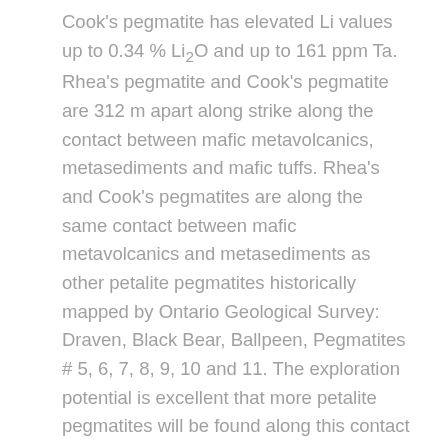Cook's pegmatite has elevated Li values up to 0.34 % Li₂O and up to 161 ppm Ta. Rhea's pegmatite and Cook's pegmatite are 312 m apart along strike along the contact between mafic metavolcanics, metasediments and mafic tuffs. Rhea's and Cook's pegmatites are along the same contact between mafic metavolcanics and metasediments as other petalite pegmatites historically mapped by Ontario Geological Survey: Draven, Black Bear, Ballpeen, Pegmatites # 5, 6, 7, 8, 9, 10 and 11. The exploration potential is excellent that more petalite pegmatites will be found along this contact on the Paterson Lake Property. The Cook's pegmatite is an enormous pegmatitic granite 420 m long by 140 m wide covered by black lichen. A thorough cleaning of the Cook's pegmatite may result in discovery of lithium mineralization similar to that at Rhea's pegmatite.